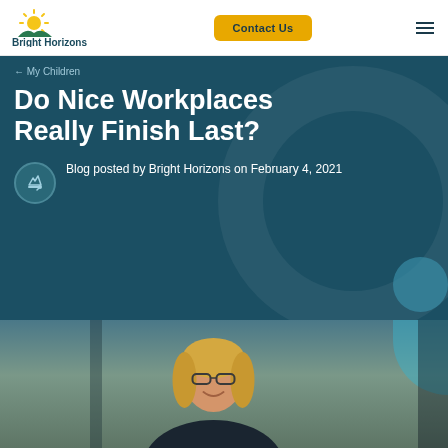Bright Horizons
Contact Us
← My Children
Do Nice Workplaces Really Finish Last?
Blog posted by Bright Horizons on February 4, 2021
[Figure (photo): Smiling blonde woman with glasses in a professional setting]